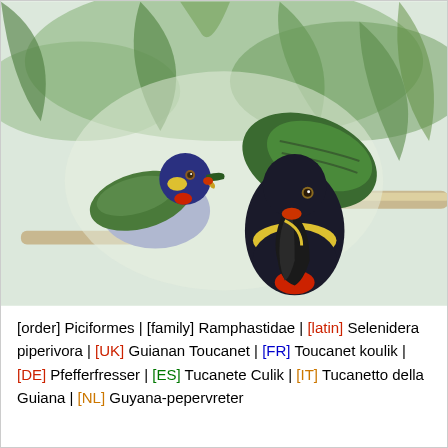[Figure (illustration): Naturalist illustration of two Guianan Toucanets (Selenidera piperivora) perched among tropical foliage. The birds display colorful plumage: green wings, black head with yellow and red markings, grey and yellow chest patches, and large dark curved beaks.]
[order] Piciformes | [family] Ramphastidae | [latin] Selenidera piperivora | [UK] Guianan Toucanet | [FR] Toucanet koulik | [DE] Pfefferfresser | [ES] Tucanete Culik | [IT] Tucanetto della Guiana | [NL] Guyana-pepervreter